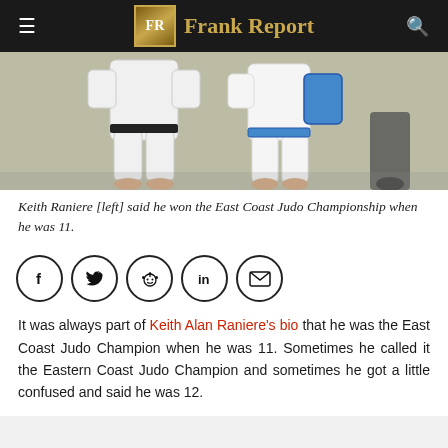FR Frank Report
[Figure (photo): Two judo practitioners in white gi uniforms grappling on a mat; one has a blue belt visible. Bare feet on grey mat surface.]
Keith Raniere [left] said he won the East Coast Judo Championship when he was 11.
[Figure (infographic): Row of five social sharing icons in circles: Facebook (f), Twitter (bird), Reddit, LinkedIn (in), Email (envelope)]
It was always part of Keith Alan Raniere's bio that he was the East Coast Judo Champion when he was 11. Sometimes he called it the Eastern Coast Judo Champion and sometimes he got a little confused and said he was 12.